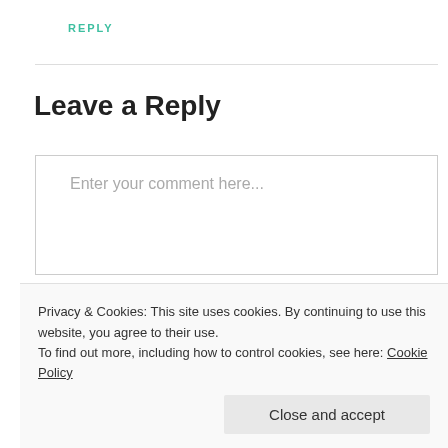REPLY
Leave a Reply
Enter your comment here...
Privacy & Cookies: This site uses cookies. By continuing to use this website, you agree to their use.
To find out more, including how to control cookies, see here: Cookie Policy
Close and accept